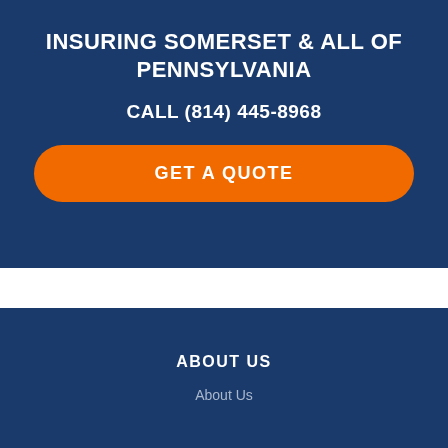INSURING SOMERSET & ALL OF PENNSYLVANIA
CALL (814) 445-8968
GET A QUOTE
ABOUT US
About Us